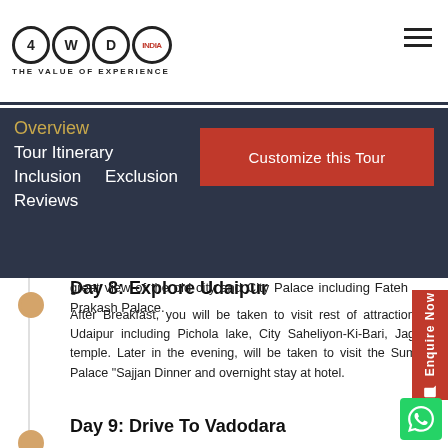4WDC INDIA — THE VALUE OF EXPERIENCE
Overview
Tour Itinerary
Inclusion   Exclusion
Reviews
great view of the old city and City Palace including Fateh Prakash Palace.
Day 8: Explore Udaipur
After Breakfast, you will be taken to visit rest of attractions of Udaipur including Pichola lake, City Saheliyon-Ki-Bari, Jagdish temple. Later in the evening, will be taken to visit the Summer Palace "Sajjan Dinner and overnight stay at hotel.
Day 9: Drive To Vadodara